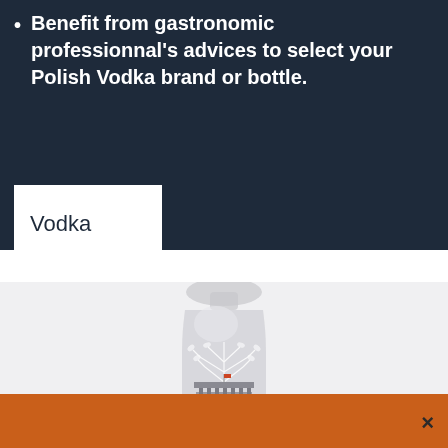Benefit from gastronomic professionnal's advices to select your Polish Vodka brand or bottle.
Vodka
[Figure (photo): A frosted glass vodka bottle with white tree/leaf patterns etched on it, and a neoclassical building (resembling a presidential palace) depicted at the base of the bottle. The bottle has a rounded cap at the top.]
×